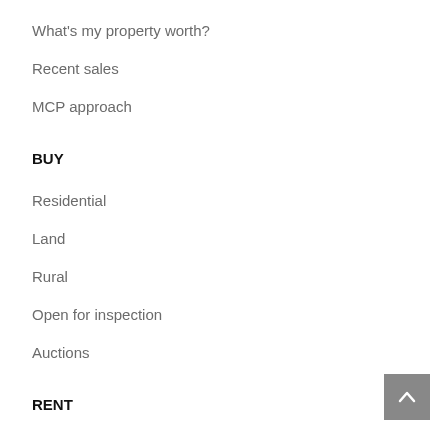What's my property worth?
Recent sales
MCP approach
BUY
Residential
Land
Rural
Open for inspection
Auctions
RENT
Current rentals
Switch to us
Maintenance request